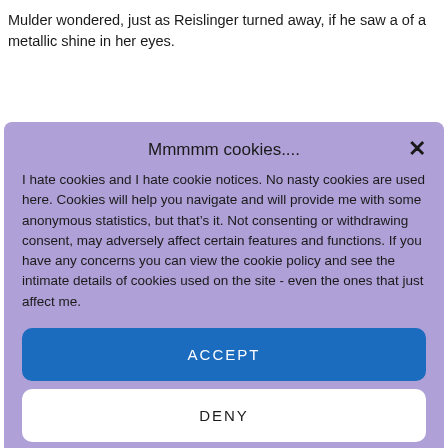Mulder wondered, just as Reislinger turned away, if he saw a of a metallic shine in her eyes.
Mmmmm cookies....
I hate cookies and I hate cookie notices. No nasty cookies are used here. Cookies will help you navigate and will provide me with some anonymous statistics, but that’s it. Not consenting or withdrawing consent, may adversely affect certain features and functions. If you have any concerns you can view the cookie policy and see the intimate details of cookies used on the site - even the ones that just affect me.
ACCEPT
DENY
VIEW PREFERENCES
Cookie Policy   Privacy Policy